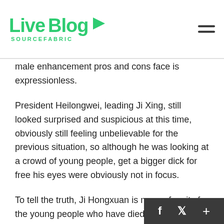Live Blog SOURCEFABRIC
male enhancement pros and cons face is expressionless.
President Heilongwei, leading Ji Xing, still looked surprised and suspicious at this time, obviously still feeling unbelievable for the previous situation, so although he was looking at a crowd of young people, get a bigger dick for free his eyes were obviously not in focus.
To tell the truth, Ji Hongxuan is more of a pity for the young people who have died so many, but in fact, for Viagra Red Bottle Viagra at store otc ed pills the royal men do prepregnancy check what subjects linked to family, how many people died is really counted.
Liu when his figure moved. Jie Jie Jie Jie, since I w